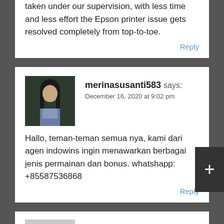taken under our supervision, with less time and less effort the Epson printer issue gets resolved completely from top-to-toe.
Reply
merinasusanti583 says:
December 16, 2020 at 9:02 pm
Hallo, teman-teman semua nya, kami dari agen indowins ingin menawarkan berbagai jenis permainan dan bonus. whatshapp: +85587536868
Reply
leukoplakia says:
December 17, 2020 at 8:19 am